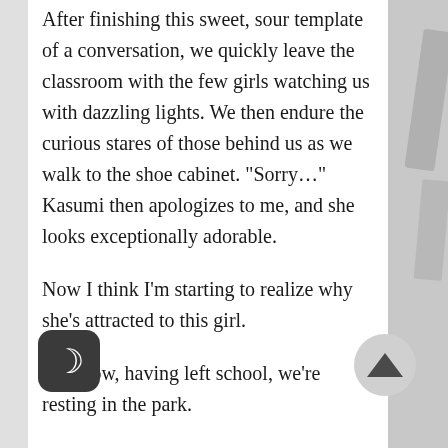After finishing this sweet, sour template of a conversation, we quickly leave the classroom with the few girls watching us with dazzling lights. We then endure the curious stares of those behind us as we walk to the shoe cabinet. “Sorry…” Kasumi then apologizes to me, and she looks exceptionally adorable.
Now I think I’m starting to realize why she’s attracted to this girl.
And now, having left school, we’re resting in the park.
umi said to me, “My friends say the ice cream e is nice…” giving me an unreliable pitch, and so we bought cups of ice cream from the shop,